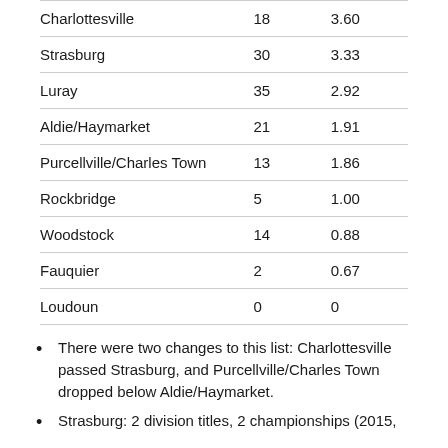| Charlottesville | 18 | 3.60 |
| Strasburg | 30 | 3.33 |
| Luray | 35 | 2.92 |
| Aldie/Haymarket | 21 | 1.91 |
| Purcellville/Charles Town | 13 | 1.86 |
| Rockbridge | 5 | 1.00 |
| Woodstock | 14 | 0.88 |
| Fauquier | 2 | 0.67 |
| Loudoun | 0 | 0 |
There were two changes to this list: Charlottesville passed Strasburg, and Purcellville/Charles Town dropped below Aldie/Haymarket.
Strasburg: 2 division titles, 2 championships (2015,